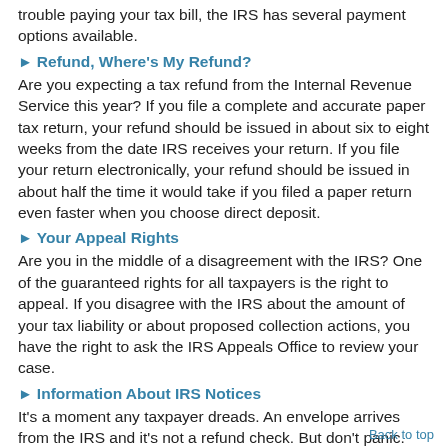trouble paying your tax bill, the IRS has several payment options available.
► Refund, Where's My Refund?
Are you expecting a tax refund from the Internal Revenue Service this year? If you file a complete and accurate paper tax return, your refund should be issued in about six to eight weeks from the date IRS receives your return. If you file your return electronically, your refund should be issued in about half the time it would take if you filed a paper return even faster when you choose direct deposit.
► Your Appeal Rights
Are you in the middle of a disagreement with the IRS? One of the guaranteed rights for all taxpayers is the right to appeal. If you disagree with the IRS about the amount of your tax liability or about proposed collection actions, you have the right to ask the IRS Appeals Office to review your case.
► Information About IRS Notices
It's a moment any taxpayer dreads. An envelope arrives from the IRS and it's not a refund check. But don't panic. Many IRS letters can be dealt with simply and painlessly.
Back to top